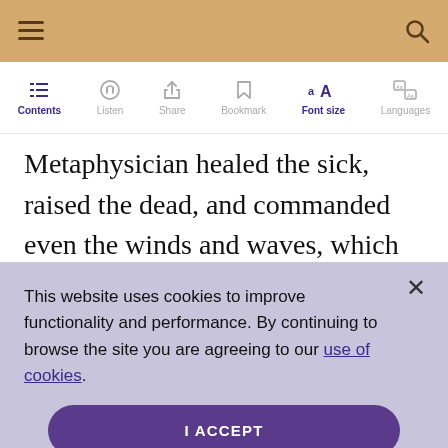Contents  Listen  Share  Bookmark  Font size  Languages
Metaphysician healed the sick, raised the dead, and commanded even the winds and waves, which obeyed him through spiritual
This website uses cookies to improve functionality and performance. By continuing to browse the site you are agreeing to our use of cookies.
I ACCEPT